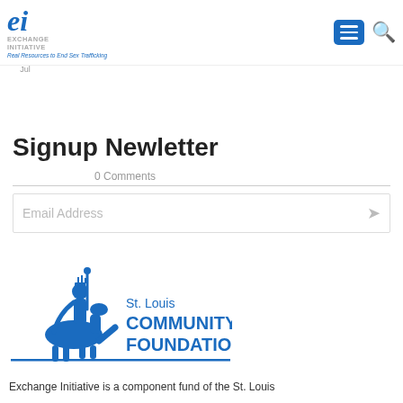ei Exchange Initiative — Real Resources to End Sex Trafficking
26 Feb • Women's Leadership Luncheon to Focus on Human Trafficking – School Sisters of Notre Dame
10 Jul • MPI's WEC Enlists Planners to Combat Human Trafficking
Signup Newletter
0 Comments
Email Address
[Figure (logo): St. Louis Community Foundation logo — blue knight on horseback with text 'St. Louis COMMUNITY FOUNDATION']
Exchange Initiative is a component fund of the St. Louis